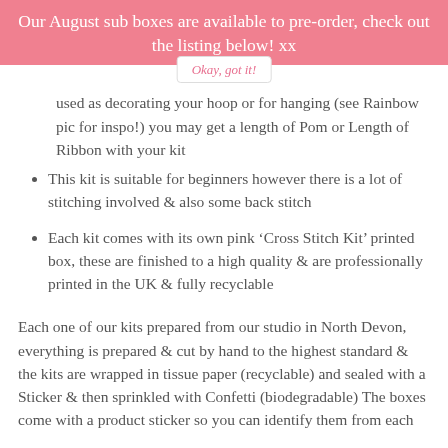Our August sub boxes are available to pre-order, check out the listing below! xx
used as decorating your hoop or for hanging (see Rainbow pic for inspo!) you may get a length of Pom or Length of Ribbon with your kit
This kit is suitable for beginners however there is a lot of stitching involved & also some back stitch
Each kit comes with its own pink ‘Cross Stitch Kit’ printed box, these are finished to a high quality & are professionally printed in the UK & fully recyclable
Each one of our kits prepared from our studio in North Devon, everything is prepared & cut by hand to the highest standard & the kits are wrapped in tissue paper (recyclable) and sealed with a Sticker & then sprinkled with Confetti (biodegradable) The boxes come with a product sticker so you can identify them from each